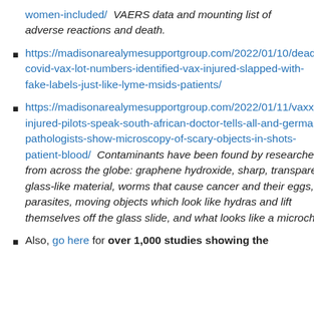women-included/  VAERS data and mounting list of adverse reactions and death.
https://madisonarealymesupportgroup.com/2022/01/10/deadly-covid-vax-lot-numbers-identified-vax-injured-slapped-with-fake-labels-just-like-lyme-msids-patients/
https://madisonarealymesupportgroup.com/2022/01/11/vaxxed-injured-pilots-speak-south-african-doctor-tells-all-and-german-pathologists-show-microscopy-of-scary-objects-in-shots-patient-blood/  Contaminants have been found by researchers from across the globe: graphene hydroxide, sharp, transparent glass-like material, worms that cause cancer and their eggs, parasites, moving objects which look like hydras and lift themselves off the glass slide, and what looks like a microchip.
Also, go here for over 1,000 studies showing the